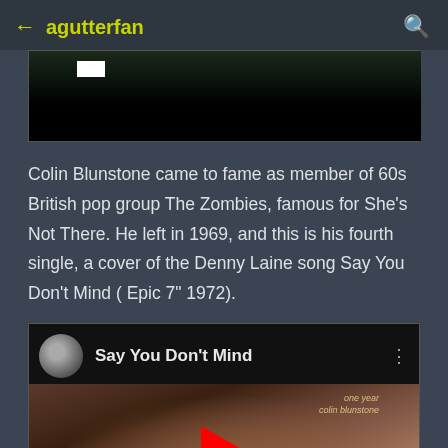← agutterfan 🔍
[Figure (screenshot): Partially visible dark image at top, mostly black with a small white rectangle]
Colin Blunstone came to fame as member of 60s British pop group The Zombies, famous for She's Not There. He left in 1969, and this is his fourth single, a cover of the Denny Laine song Say You Don't Mind ( Epic 7" 1972).
[Figure (screenshot): YouTube video thumbnail for 'Say You Don't Mind' by Colin Blunstone, showing album art for 'one year colin blunstone' with channel avatar and play button]